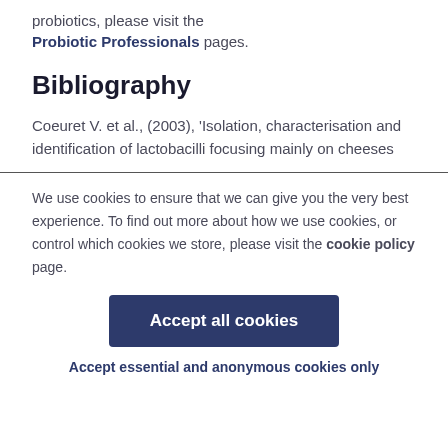probiotics, please visit the Probiotic Professionals pages.
Bibliography
Coeuret V. et al., (2003), 'Isolation, characterisation and identification of lactobacilli focusing mainly on cheeses
We use cookies to ensure that we can give you the very best experience. To find out more about how we use cookies, or control which cookies we store, please visit the cookie policy page.
Accept all cookies
Accept essential and anonymous cookies only